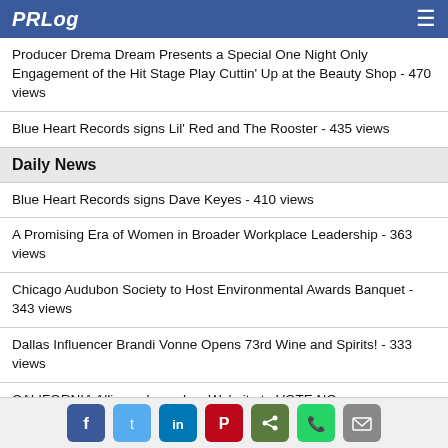PRLog
Producer Drema Dream Presents a Special One Night Only Engagement of the Hit Stage Play Cuttin' Up at the Beauty Shop - 470 views
Blue Heart Records signs Lil' Red and The Rooster - 435 views
Daily News
Blue Heart Records signs Dave Keyes - 410 views
A Promising Era of Women in Broader Workplace Leadership - 363 views
Chicago Audubon Society to Host Environmental Awards Banquet - 343 views
Dallas Influencer Brandi Vonne Opens 73rd Wine and Spirits! - 333 views
CALIFORNIA Alliance Launches Website to VOTE NO on
Social share icons: Facebook, Twitter, LinkedIn, Pinterest, Share, WhatsApp, Email